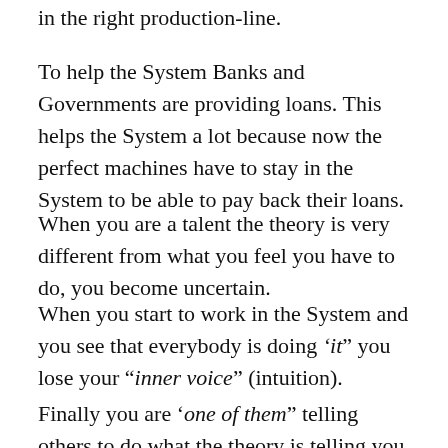in the right production-line.
To help the System Banks and Governments are providing loans. This helps the System a lot because now the perfect machines have to stay in the System to be able to pay back their loans.
When you are a talent the theory is very different from what you feel you have to do, you become uncertain.
When you start to work in the System and you see that everybody is doing ‘it” you lose your “inner voice” (intuition).
Finally you are ‘one of them” telling others to do what the theory is telling you to do because “ everybody